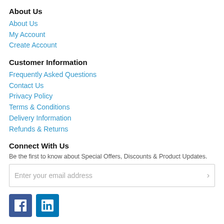About Us
About Us
My Account
Create Account
Customer Information
Frequently Asked Questions
Contact Us
Privacy Policy
Terms & Conditions
Delivery Information
Refunds & Returns
Connect With Us
Be the first to know about Special Offers, Discounts & Product Updates.
[Figure (other): Email newsletter signup input field with placeholder text 'Enter your email address' and a right-arrow button]
[Figure (other): Social media icons: Facebook (blue square with 'f') and LinkedIn (blue square with 'in')]